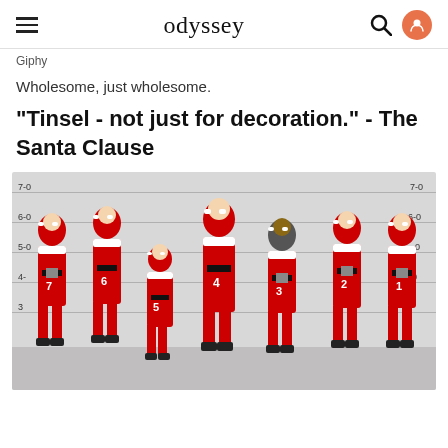odyssey
Giphy
Wholesome, just wholesome.
"Tinsel - not just for decoration." - The Santa Clause
[Figure (photo): A police lineup of seven men all dressed as Santa Claus, standing against a height measurement wall. Each holds a number placard (1-7). The background shows horizontal ruler lines marking heights from 3-0 to 7-0. All are wearing red Santa suits with white trim and black belts.]